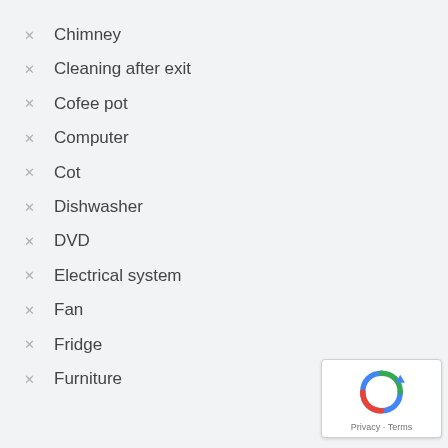Chimney
Cleaning after exit
Cofee pot
Computer
Cot
Dishwasher
DVD
Electrical system
Fan
Fridge
Furniture